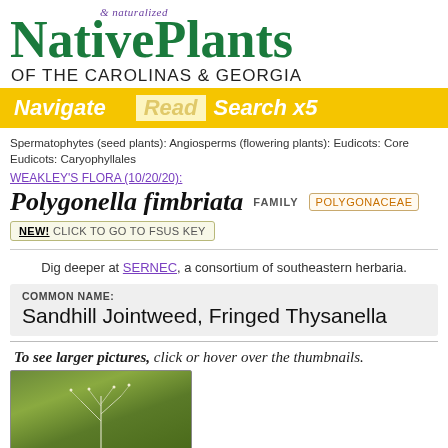& naturalized NativePlants OF THE CAROLINAS & GEORGIA
Navigate  Read  Search x5
Spermatophytes (seed plants): Angiosperms (flowering plants): Eudicots: Core Eudicots: Caryophyllales
WEAKLEY'S FLORA (10/20/20):
Polygonella fimbriata  FAMILY  POLYGONACEAE
NEW! CLICK TO GO TO FSUS KEY
Dig deeper at SERNEC, a consortium of southeastern herbaria.
COMMON NAME: Sandhill Jointweed, Fringed Thysanella
To see larger pictures, click or hover over the thumbnails.
[Figure (photo): Thumbnail photo of Polygonella fimbriata plant against green/brown background]